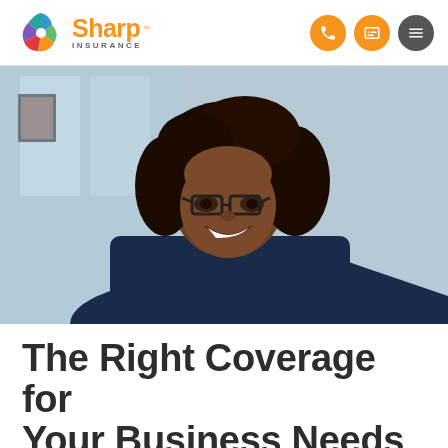Sharp Insurance
[Figure (photo): Smiling woman with glasses and curly hair wearing a navy blue top, photographed in a bright office/business environment]
The Right Coverage for Your Business Needs